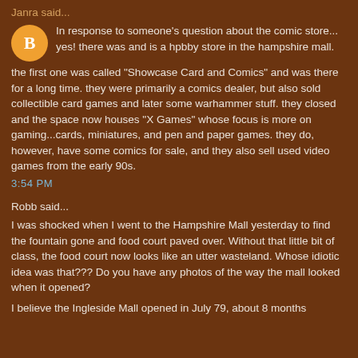Janra said...
In response to someone's question about the comic store... yes! there was and is a hpbby store in the hampshire mall.
the first one was called "Showcase Card and Comics" and was there for a long time. they were primarily a comics dealer, but also sold collectible card games and later some warhammer stuff. they closed and the space now houses "X Games" whose focus is more on gaming...cards, miniatures, and pen and paper games. they do, however, have some comics for sale, and they also sell used video games from the early 90s.
3:54 PM
Robb said...
I was shocked when I went to the Hampshire Mall yesterday to find the fountain gone and food court paved over. Without that little bit of class, the food court now looks like an utter wasteland. Whose idiotic idea was that??? Do you have any photos of the way the mall looked when it opened?
I believe the Ingleside Mall opened in July 79, about 8 months